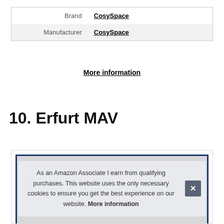|  |  |
| --- | --- |
| Brand | CosySpace |
| Manufacturer | CosySpace |
More information
10. Erfurt MAV
[Figure (photo): Product image area with blue border frame, showing partial grey background, overlaid by a cookie consent notice.]
As an Amazon Associate I earn from qualifying purchases. This website uses the only necessary cookies to ensure you get the best experience on our website. More information